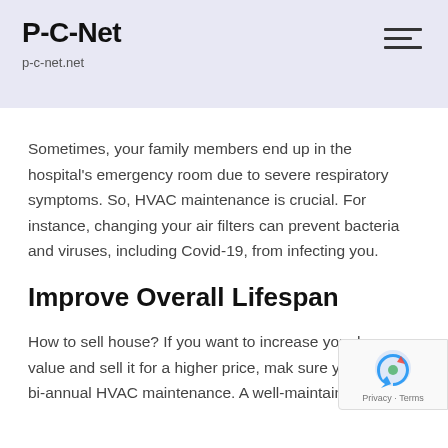P-C-Net
p-c-net.net
Sometimes, your family members end up in the hospital's emergency room due to severe respiratory symptoms. So, HVAC maintenance is crucial. For instance, changing your air filters can prevent bacteria and viruses, including Covid-19, from infecting you.
Improve Overall Lifespan
How to sell house? If you want to increase your home value and sell it for a higher price, make sure you invest in bi-annual HVAC maintenance. A well-maintained